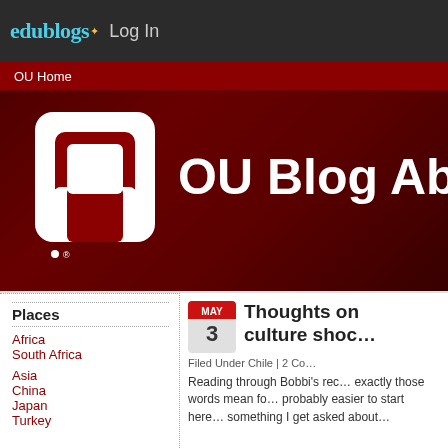edublogs Log In
OU Home
[Figure (screenshot): OU Blog Abroad banner with OU interlocking logo on dark red background]
Places
Africa
South Africa
Asia
China
Japan
Turkey
Thoughts on culture shoc…
Filed Under Chile | 2 Co…
Reading through Bobbi's rec… exactly those words mean fo… probably easier to start here… something I get asked about…